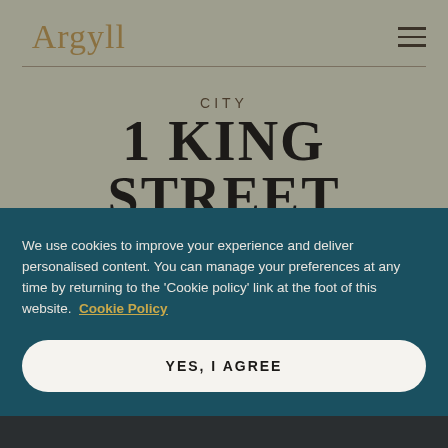Argyll
CITY
1 KING STREET
We use cookies to improve your experience and deliver personalised content. You can manage your preferences at any time by returning to the 'Cookie policy' link at the foot of this website.  Cookie Policy
YES, I AGREE
Manage Preferences